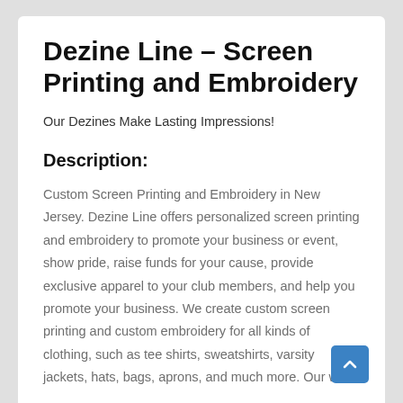Dezine Line – Screen Printing and Embroidery
Our Dezines Make Lasting Impressions!
Description:
Custom Screen Printing and Embroidery in New Jersey. Dezine Line offers personalized screen printing and embroidery to promote your business or event, show pride, raise funds for your cause, provide exclusive apparel to your club members, and help you promote your business. We create custom screen printing and custom embroidery for all kinds of clothing, such as tee shirts, sweatshirts, varsity jackets, hats, bags, aprons, and much more. Our work